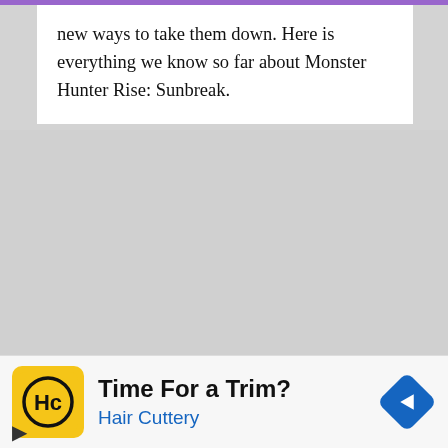new ways to take them down. Here is everything we know so far about Monster Hunter Rise: Sunbreak.
[Figure (screenshot): Gray placeholder area representing an embedded media or image region in a webpage]
[Figure (infographic): Advertisement banner: Hair Cuttery ad with logo, 'Time For a Trim?' headline, and navigation diamond icon]